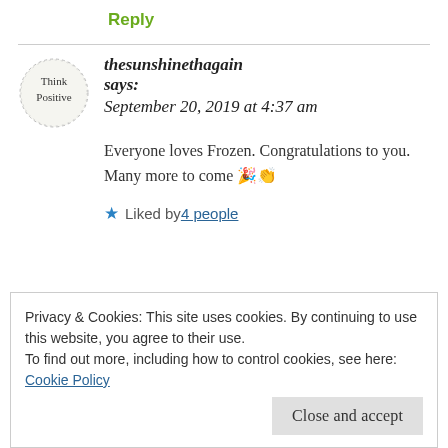Reply
thesunshinethagain says: September 20, 2019 at 4:37 am
Everyone loves Frozen. Congratulations to you. Many more to come 🎉👏
★ Liked by 4 people
Privacy & Cookies: This site uses cookies. By continuing to use this website, you agree to their use.
To find out more, including how to control cookies, see here: Cookie Policy